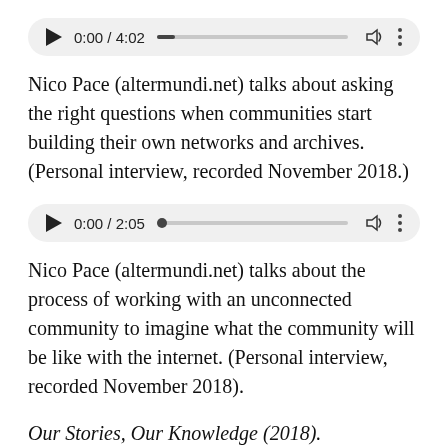[Figure (other): Audio player showing 0:00 / 4:02 with play button, progress bar, volume icon, and options menu]
Nico Pace (altermundi.net) talks about asking the right questions when communities start building their own networks and archives. (Personal interview, recorded November 2018.)
[Figure (other): Audio player showing 0:00 / 2:05 with play button, progress bar, volume icon, and options menu]
Nico Pace (altermundi.net) talks about the process of working with an unconnected community to imagine what the community will be like with the internet. (Personal interview, recorded November 2018).